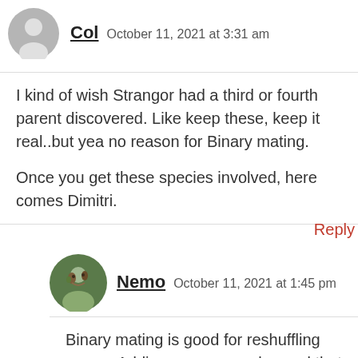[Figure (illustration): Gray circular avatar icon with silhouette of person]
Col   October 11, 2021 at 3:31 am
I kind of wish Strangor had a third or fourth parent discovered. Like keep these, keep it real..but yea no reason for Binary mating.

Once you get these species involved, here comes Dimitri.
Reply
[Figure (photo): Circular photo of a person with dark hair and beard outdoors]
Nemo   October 11, 2021 at 1:45 pm
Binary mating is good for reshuffling genes. Adding more sexes beyond that just makes it harder to get everyone together in the first place. So, I don't see it evolving.